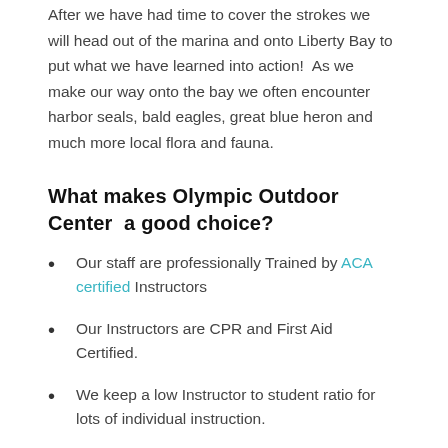After we have had time to cover the strokes we will head out of the marina and onto Liberty Bay to put what we have learned into action!  As we make our way onto the bay we often encounter harbor seals, bald eagles, great blue heron and much more local flora and fauna.
What makes Olympic Outdoor Center  a good choice?
Our staff are professionally Trained by ACA certified Instructors
Our Instructors are CPR and First Aid Certified.
We keep a low Instructor to student ratio for lots of individual instruction.